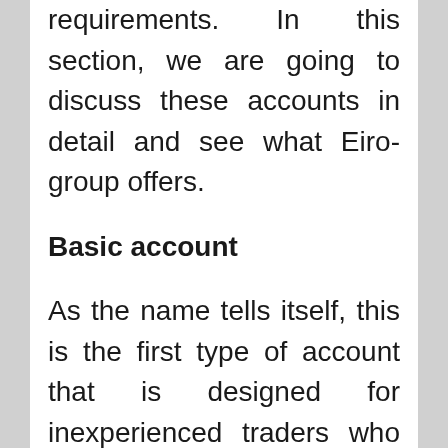requirements. In this section, we are going to discuss these accounts in detail and see what Eiro-group offers.
Basic account
As the name tells itself, this is the first type of account that is designed for inexperienced traders who don't have any knowledge regarding online trading. It is obvious that if you don't have any